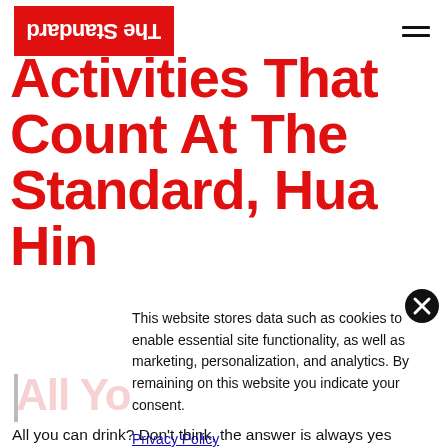The Standard
Activities That Count At The Standard, Hua Hin
This website stores data such as cookies to enable essential site functionality, as well as marketing, personalization, and analytics. By remaining on this website you indicate your consent.
Privacy Policy
All You Can Drink
All you can drink? Don't think, the answer is always yes